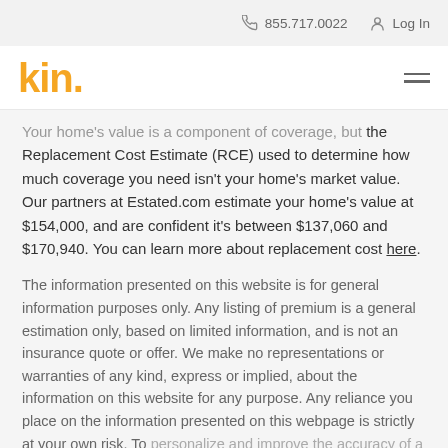855.717.0022   Log In
[Figure (logo): Kin insurance logo in yellow/gold text with hamburger menu icon]
Your home's value is a component of coverage, but the Replacement Cost Estimate (RCE) used to determine how much coverage you need isn't your home's market value. Our partners at Estated.com estimate your home's value at $154,000, and are confident it's between $137,060 and $170,940. You can learn more about replacement cost here.
The information presented on this website is for general information purposes only. Any listing of premium is a general estimation only, based on limited information, and is not an insurance quote or offer. We make no representations or warranties of any kind, express or implied, about the information on this website for any purpose. Any reliance you place on the information presented on this webpage is strictly at your own risk. To personalize and improve the accuracy of a quote and